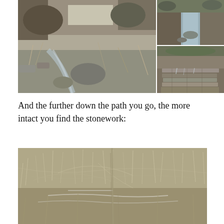[Figure (photo): Collage of three outdoor photos showing a rocky creek/stream path through bare winter brush and trees, with stonework visible along the creek banks.]
And the further down the path you go, the more intact you find the stonework:
[Figure (photo): Photo of dry brush and grasses with stone pathway or stonework visible beneath, taken along a trail in winter conditions.]